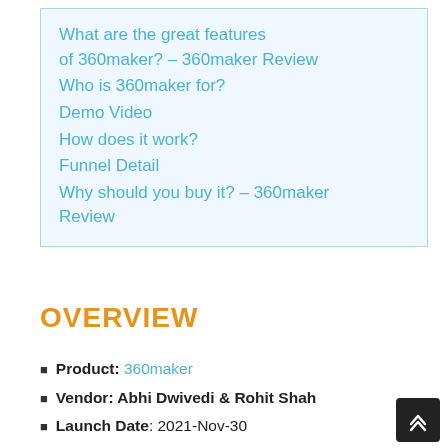What are the great features of 360maker? – 360maker Review
Who is 360maker for?
Demo Video
How does it work?
Funnel Detail
Why should you buy it? – 360maker Review
OVERVIEW
Product: 360maker
Vendor: Abhi Dwivedi & Rohit Shah
Launch Date: 2021-Nov-30
Launch Time: 11:00 EST
FrontEnd Price: $67
Official Sales Page: Clickhere